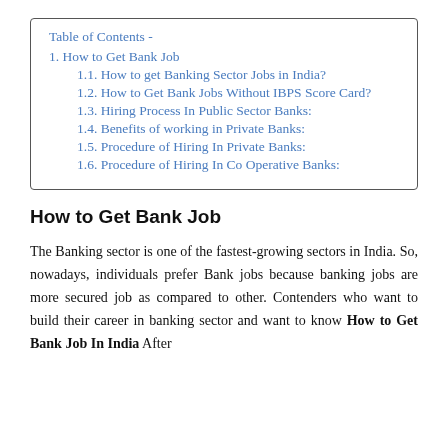Table of Contents -
1. How to Get Bank Job
1.1. How to get Banking Sector Jobs in India?
1.2. How to Get Bank Jobs Without IBPS Score Card?
1.3. Hiring Process In Public Sector Banks:
1.4. Benefits of working in Private Banks:
1.5. Procedure of Hiring In Private Banks:
1.6. Procedure of Hiring In Co Operative Banks:
How to Get Bank Job
The Banking sector is one of the fastest-growing sectors in India. So, nowadays, individuals prefer Bank jobs because banking jobs are more secured job as compared to other. Contenders who want to build their career in banking sector and want to know How to Get Bank Job In India After